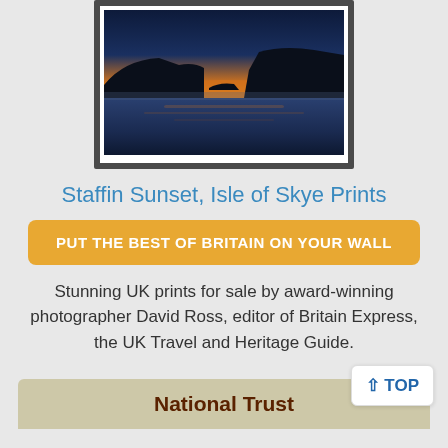[Figure (photo): Framed photograph of Staffin Sunset, Isle of Skye — dark cliffs silhouetted against a twilight sky with orange/yellow horizon glow, calm water in foreground]
Staffin Sunset, Isle of Skye Prints
PUT THE BEST OF BRITAIN ON YOUR WALL
Stunning UK prints for sale by award-winning photographer David Ross, editor of Britain Express, the UK Travel and Heritage Guide.
National Trust
TOP